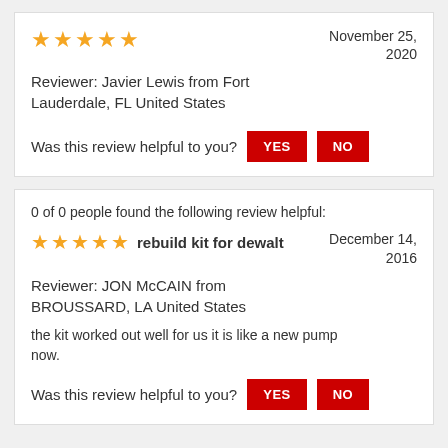★★★★★
November 25, 2020
Reviewer: Javier Lewis from Fort Lauderdale, FL United States
Was this review helpful to you? YES NO
0 of 0 people found the following review helpful:
★★★★★ rebuild kit for dewalt
December 14, 2016
Reviewer: JON McCAIN from BROUSSARD, LA United States
the kit worked out well for us it is like a new pump now.
Was this review helpful to you? YES NO